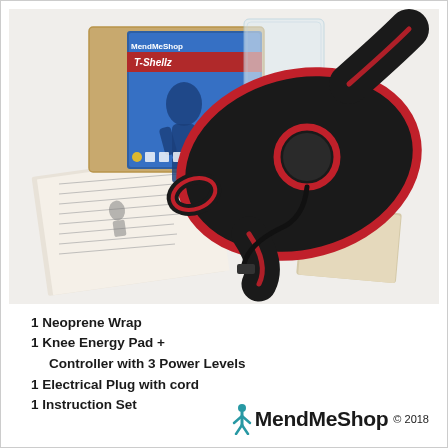[Figure (photo): Product photo showing a MendMeShop T-Shellz knee wrap kit spread out, including a black neoprene knee wrap with red trim, a product box with blue silhouette graphic, instruction booklet, and accessory components on a light background.]
1 Neoprene Wrap
1 Knee Energy Pad + Controller with 3 Power Levels
1 Electrical Plug with cord
1 Instruction Set
[Figure (logo): MendMeShop logo with teal figure icon and bold text, followed by copyright symbol and 2018]